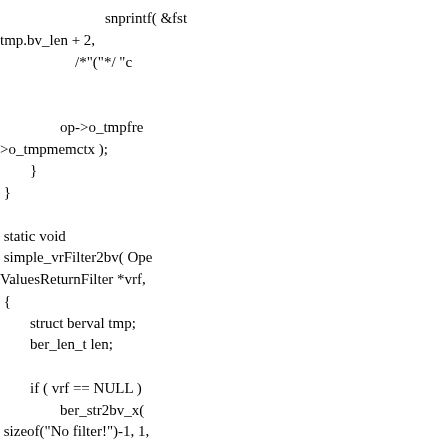snprintf( &fst
tmp.bv_len + 2,
        /*"("*/ "c


        op->o_tmpfre
>o_tmpmemctx );
        }
 }

 static void
 simple_vrFilter2bv( Ope
ValuesReturnFilter *vrf,
 {
        struct berval tmp;
        ber_len_t len;

        if ( vrf == NULL )
                ber_str2bv_x(
 sizeof("No filter!")-1, 1,
                op->o_tm
                return;
        }

        switch ( vrf->vrf_c
        case LDAP_FILTR